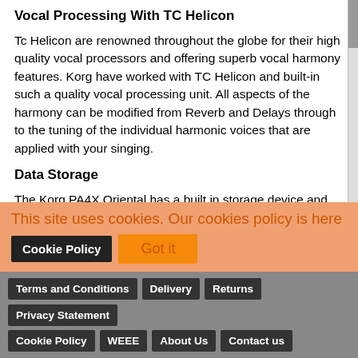Vocal Processing With TC Helicon
Tc Helicon are renowned throughout the globe for their high quality vocal processors and offering superb vocal harmony features. Korg have worked with TC Helicon and built-in such a quality vocal processing unit. All aspects of the harmony can be modified from Reverb and Delays through to the tuning of the individual harmonic voices that are applied with your singing.
Data Storage
The Korg PA4X Oriental has a built in storage device and USB slot with the option for an additional HD. The 76 note model comes with a HD as standard. Both models offer the option to insert a micro SD card slot for permanent storage in the instrument for all your data. Either way, even without the HD, the 61 note Oriental PA4X has a huge amount of space available whether it be to the internal storage memory or external USB. You will not have to worry about storing
This site uses cookies. Our cookies policy is here
Cookie Policy
Got it
Terms and Conditions  Delivery  Returns  Privacy Statement  Cookie Policy  WEEE  About Us  Contact us